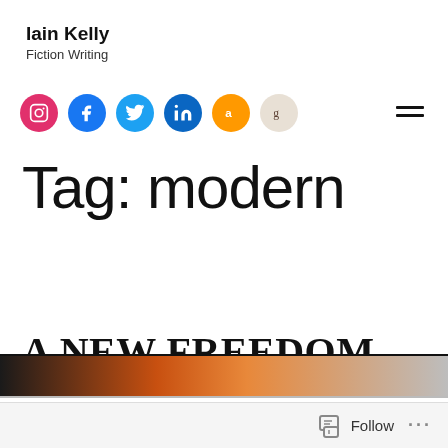Iain Kelly
Fiction Writing
[Figure (infographic): Row of social media icon circles: Instagram (pink), Facebook (blue), Twitter (blue), LinkedIn (dark blue), Amazon (orange), Goodreads (beige), and a hamburger menu icon on the right]
Tag: modern
A NEW FREEDOM
[Figure (photo): A horizontal image strip showing a partial photo with dark, orange, and grey tones]
Follow ...